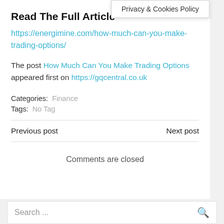Privacy & Cookies Policy
Read The Full Article
https://energimine.com/how-much-can-you-make-trading-options/
The post How Much Can You Make Trading Options appeared first on https://gqcentral.co.uk
Categories:  Finance
Tags:  No Tag
Previous post
Next post
Comments are closed
Search ...